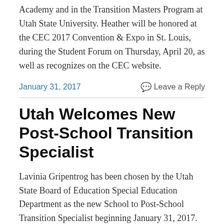Academy and in the Transition Masters Program at Utah State University. Heather will be honored at the CEC 2017 Convention & Expo in St. Louis, during the Student Forum on Thursday, April 20, as well as recognizes on the CEC website.
January 31, 2017   Leave a Reply
Utah Welcomes New Post-School Transition Specialist
Lavinia Gripentrog has been chosen by the Utah State Board of Education Special Education Department as the new School to Post-School Transition Specialist beginning January 31, 2017. She will replace Susan Loving who is retiring (See article on Susan Loving here).